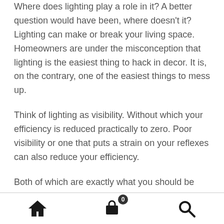Where does lighting play a role in it? A better question would have been, where doesn't it? Lighting can make or break your living space. Homeowners are under the misconception that lighting is the easiest thing to hack in decor. It is, on the contrary, one of the easiest things to mess up.
Think of lighting as visibility. Without which your efficiency is reduced practically to zero. Poor visibility or one that puts a strain on your reflexes can also reduce your efficiency.
Both of which are exactly what you should be avoiding when you're sitting down to work.
Ditch the Incandescent and
Home | Cart (0) | Search